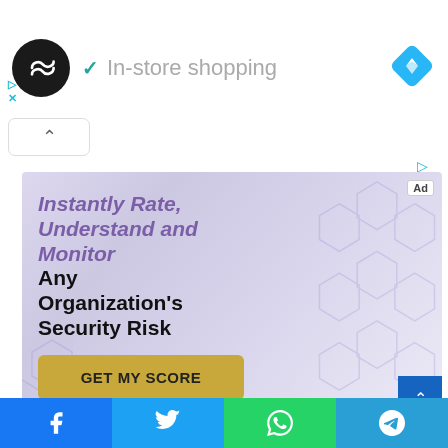[Figure (screenshot): App logo: black circle with double infinity/loop arrows icon in white]
✓ In-store shopping
[Figure (logo): Blue diamond navigation/direction icon]
[Figure (screenshot): Small play and X icons in cyan]
[Figure (screenshot): Accordion collapse button with up caret]
[Figure (infographic): Advertisement banner: 'Instantly Rate, Understand and Monitor Any Organization's Security Risk' with GET MY SCORE button on purple/lavender honeycomb background]
[Figure (screenshot): Social share bar with Facebook, Twitter, WhatsApp, Telegram buttons]